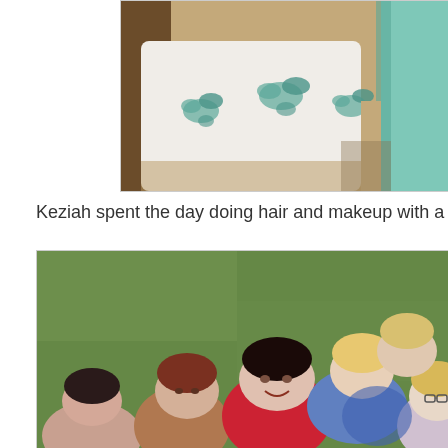[Figure (photo): A floral-embroidered white fabric/dress laid out on a beige carpet, with a teal/mint colored fabric visible at the right edge. A wooden chair leg is partially visible at the top left.]
Keziah spent the day doing hair and makeup with a big gro
[Figure (photo): A group of young women posing together outdoors on a green lawn. Several are dressed up, including one in a red sequined jacket and another in a blue sequined outfit. The group is smiling and close together.]